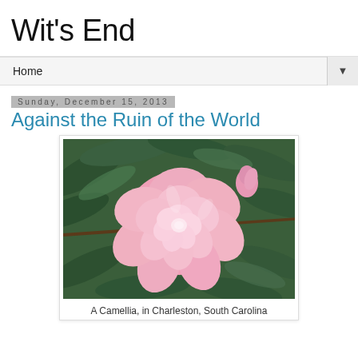Wit's End
Home
Sunday, December 15, 2013
Against the Ruin of the World
[Figure (photo): A close-up photograph of a pink camellia flower with green leaves in the background, taken in Charleston, South Carolina]
A Camellia, in Charleston, South Carolina